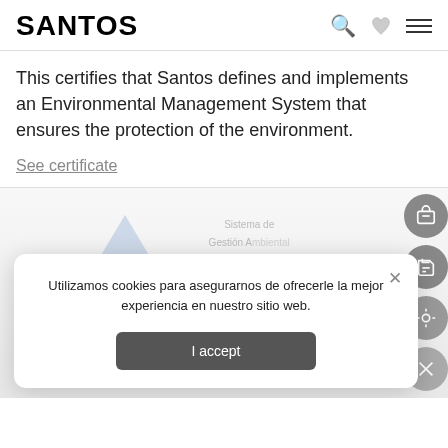SANTOS
This certifies that Santos defines and implements an Environmental Management System that ensures the protection of the environment.
See certificate
[Figure (other): Partially visible TUVRheinland environmental management certificate document with blue logo watermark and text 'Sistema de Gestion Ambiental ISO 14001:2015 TUVRheinland']
Utilizamos cookies para asegurarnos de ofrecerle la mejor experiencia en nuestro sitio web.
I accept